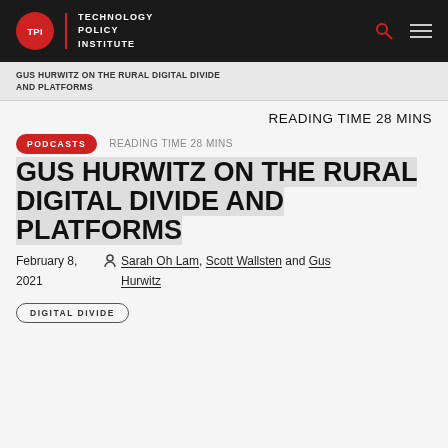TPI | TECHNOLOGY POLICY INSTITUTE
GUS HURWITZ ON THE RURAL DIGITAL DIVIDE AND PLATFORMS
READING TIME 28 MINS
PODCASTS  READING TIME 28 MINS
GUS HURWITZ ON THE RURAL DIGITAL DIVIDE AND PLATFORMS
February 8, 2021  Sarah Oh Lam, Scott Wallsten and Gus Hurwitz
DIGITAL DIVIDE